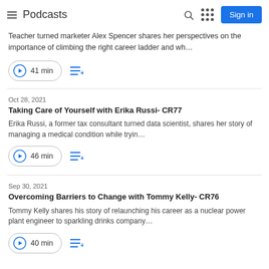Podcasts
Teacher turned marketer Alex Spencer shares her perspectives on the importance of climbing the right career ladder and wh…
41 min
Oct 28, 2021
Taking Care of Yourself with Erika Russi- CR77
Erika Russi, a former tax consultant turned data scientist, shares her story of managing a medical condition while tryin…
46 min
Sep 30, 2021
Overcoming Barriers to Change with Tommy Kelly- CR76
Tommy Kelly shares his story of relaunching his career as a nuclear power plant engineer to sparkling drinks company…
40 min